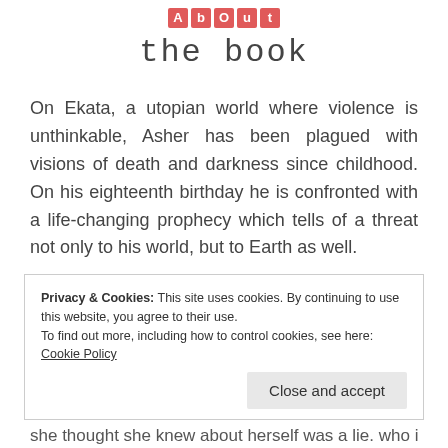about the book
On Ekata, a utopian world where violence is unthinkable, Asher has been plagued with visions of death and darkness since childhood. On his eighteenth birthday he is confronted with a life-changing prophecy which tells of a threat not only to his world, but to Earth as well.
Privacy & Cookies: This site uses cookies. By continuing to use this website, you agree to their use.
To find out more, including how to control cookies, see here: Cookie Policy
she thought she knew about herself was a lie. who is